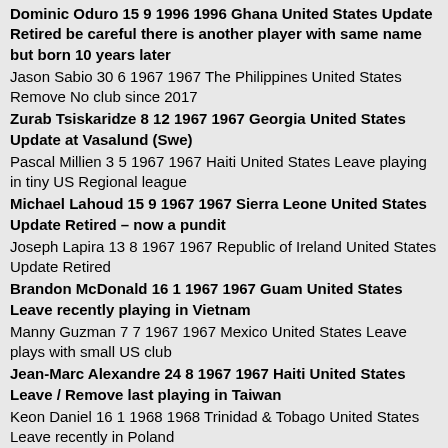Dominic Oduro 15 9 1996 1996 Ghana United States Update Retired be careful there is another player with same name but born 10 years later
Jason Sabio 30 6 1967 1967 The Philippines United States Remove No club since 2017
Zurab Tsiskaridze 8 12 1967 1967 Georgia United States Update at Vasalund (Swe)
Pascal Millien 3 5 1967 1967 Haiti United States Leave playing in tiny US Regional league
Michael Lahoud 15 9 1967 1967 Sierra Leone United States Update Retired – now a pundit
Joseph Lapira 13 8 1967 1967 Republic of Ireland United States Update Retired
Brandon McDonald 16 1 1967 1967 Guam United States Leave recently playing in Vietnam
Manny Guzman 7 7 1967 1967 Mexico United States Leave plays with small US club
Jean-Marc Alexandre 24 8 1967 1967 Haiti United States Leave / Remove last playing in Taiwan
Keon Daniel 16 1 1968 1968 Trinidad & Tobago United States Leave recently in Poland
Edward Santeliz 18 6 1968 1968 Guatemala United States Update plays for Suchitepequez in his native land
Ryan Adeleye 28 4 1968 1968 Israel United States Remove If he is still playing it is at a very low level